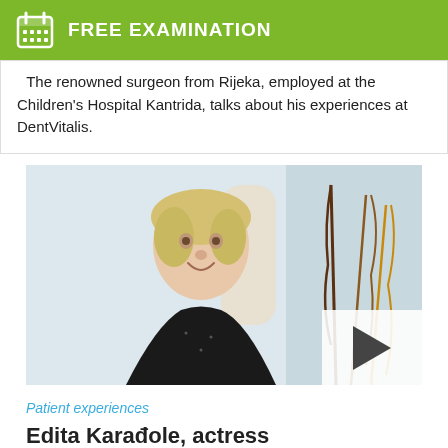FREE EXAMINATION
The renowned surgeon from Rijeka, employed at the Children's Hospital Kantrida, talks about his experiences at DentVitalis.
[Figure (photo): Elderly blonde woman in black sparkly top sitting and smiling, in a dental office setting with decorative branches in background. Video play button overlay in bottom right corner.]
Patient experiences
Edita Karađole, actress
Winner of the Croatian Theatre Award for Lifetime